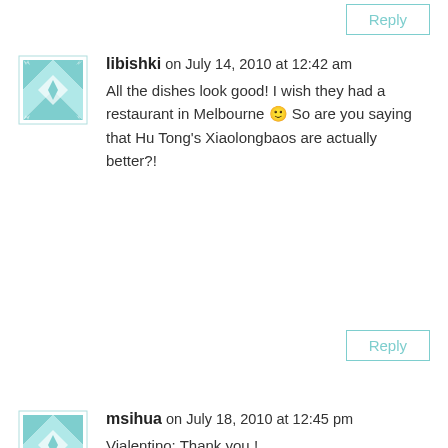Reply
libishki on July 14, 2010 at 12:42 am
All the dishes look good! I wish they had a restaurant in Melbourne 🙂 So are you saying that Hu Tong's Xiaolongbaos are actually better?!
Reply
msihua on July 18, 2010 at 12:45 pm
Vialentino: Thank you !
3HT: Sorry for the late reply.. we can only hope.. since their already in Sydney =)
Libishki: I can only comment on that xiao long bao for that day... I did enjoy it.. but somehow